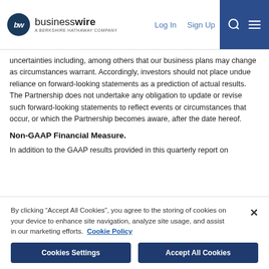businesswire — A BERKSHIRE HATHAWAY COMPANY | Log In | Sign Up
uncertainties including, among others that our business plans may change as circumstances warrant. Accordingly, investors should not place undue reliance on forward-looking statements as a prediction of actual results. The Partnership does not undertake any obligation to update or revise such forward-looking statements to reflect events or circumstances that occur, or which the Partnership becomes aware, after the date hereof.
Non-GAAP Financial Measure.
In addition to the GAAP results provided in this quarterly report on
By clicking “Accept All Cookies”, you agree to the storing of cookies on your device to enhance site navigation, analyze site usage, and assist in our marketing efforts. Cookie Policy
Cookies Settings | Accept All Cookies